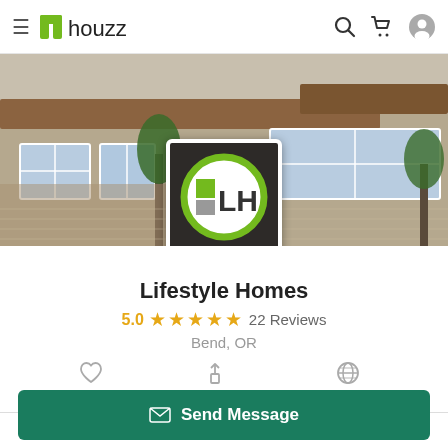houzz
[Figure (screenshot): Houzz profile page for Lifestyle Homes showing hero banner of a house exterior, company logo overlay (LH with green circle), business name, 5-star rating, location, and action buttons]
Lifestyle Homes
5.0 ★★★★★  22 Reviews
Bend, OR
Save  Share  Website
Send Message